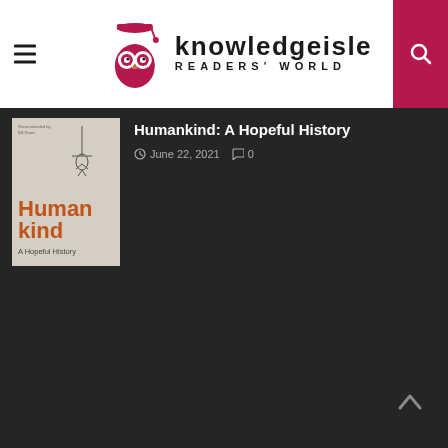knowledgeisle READERS' WORLD
Humankind: A Hopeful History
June 22, 2021   0
[Figure (photo): Book cover of 'Humankind: A Hopeful History' showing orange title text on a light grey/beige background]
Back to top arrow button